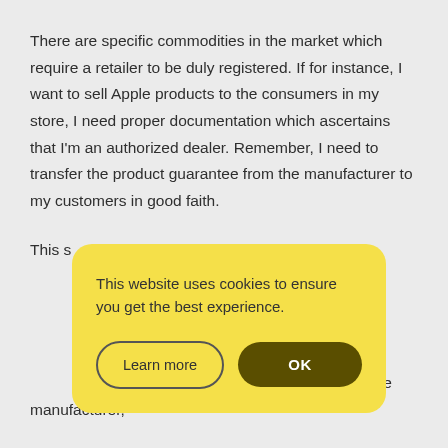There are specific commodities in the market which require a retailer to be duly registered. If for instance, I want to sell Apple products to the consumers in my store, I need proper documentation which ascertains that I'm an authorized dealer. Remember, I need to transfer the product guarantee from the manufacturer to my customers in good faith.
This s[tore or retailer must seek professional] advis[e and seek legal counsel from retail law] case [lawyers. Through this, the retailer or sel]ler is prote[cted from legal consequences. Retalia]tive return[s are also covered. It covers defective go]ods which[ever the retailer works. This means] they work as intermediaries between the manufacturer,
This website uses cookies to ensure you get the best experience.
Learn more
OK